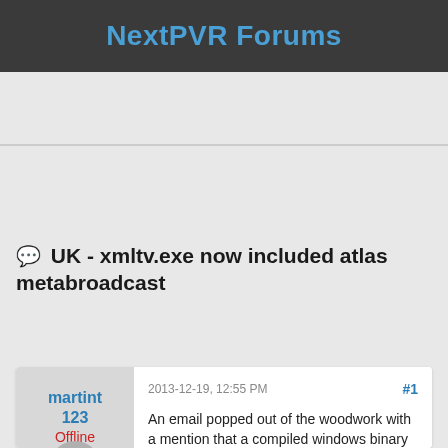NextPVR Forums
UK - xmltv.exe now included atlas metabroadcast
martint
123
Offline
2013-12-19, 12:55 PM  #1
An email popped out of the woodwork with a mention that a compiled windows binary EPG grabber is updated to include